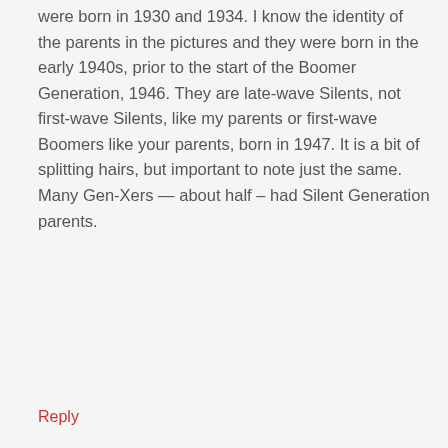were born in 1930 and 1934. I know the identity of the parents in the pictures and they were born in the early 1940s, prior to the start of the Boomer Generation, 1946. They are late-wave Silents, not first-wave Silents, like my parents or first-wave Boomers like your parents, born in 1947. It is a bit of splitting hairs, but important to note just the same. Many Gen-Xers — about half – had Silent Generation parents.
Reply